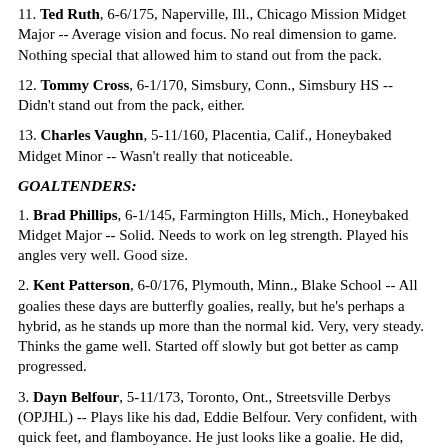11. Ted Ruth, 6-6/175, Naperville, Ill., Chicago Mission Midget Major -- Average vision and focus. No real dimension to game. Nothing special that allowed him to stand out from the pack.
12. Tommy Cross, 6-1/170, Simsbury, Conn., Simsbury HS -- Didn't stand out from the pack, either.
13. Charles Vaughn, 5-11/160, Placentia, Calif., Honeybaked Midget Minor -- Wasn't really that noticeable.
GOALTENDERS:
1. Brad Phillips, 6-1/145, Farmington Hills, Mich., Honeybaked Midget Major -- Solid. Needs to work on leg strength. Played his angles very well. Good size.
2. Kent Patterson, 6-0/176, Plymouth, Minn., Blake School -- All goalies these days are butterfly goalies, really, but he's perhaps a hybrid, as he stands up more than the normal kid. Very, very steady. Thinks the game well. Started off slowly but got better as camp progressed.
3. Dayn Belfour, 5-11/173, Toronto, Ont., Streetsville Derbys (OPJHL) -- Plays like his dad, Eddie Belfour. Very confident, with quick feet, and flamboyance. He just looks like a goalie. He did, however, let in some untimely goals. A little bit all over the ice, too